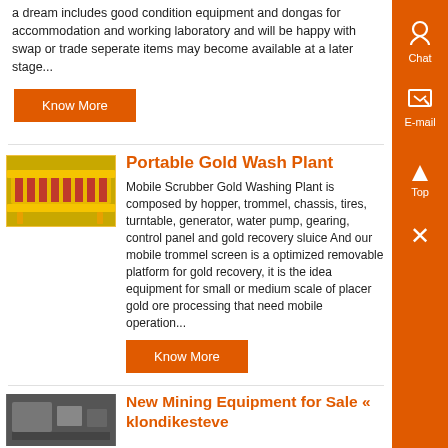a dream includes good condition equipment and dongas for accommodation and working laboratory and will be happy with swap or trade seperate items may become available at a later stage...
Know More
Portable Gold Wash Plant
[Figure (photo): Yellow portable gold wash plant / sluice equipment, viewed from front angle]
Mobile Scrubber Gold Washing Plant is composed by hopper, trommel, chassis, tires, turntable, generator, water pump, gearing, control panel and gold recovery sluice And our mobile trommel screen is a optimized removable platform for gold recovery, it is the idea equipment for small or medium scale of placer gold ore processing that need mobile operation...
Know More
New Mining Equipment for Sale « klondikesteve
[Figure (photo): Mining equipment in indoor/warehouse setting, grayscale image]